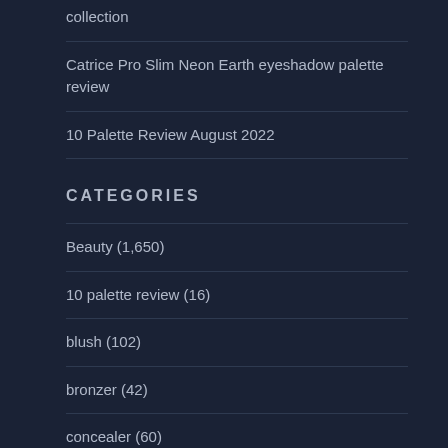collection
Catrice Pro Slim Neon Earth eyeshadow palette review
10 Palette Review August 2022
CATEGORIES
Beauty (1,650)
10 palette review (16)
blush (102)
bronzer (42)
concealer (60)